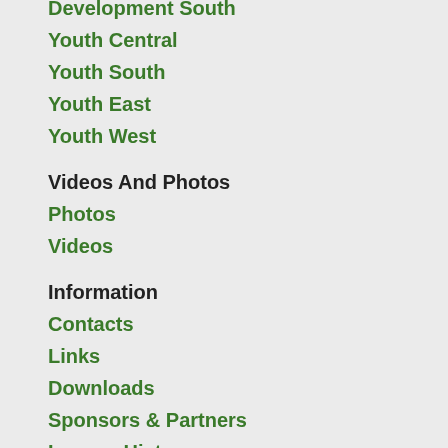Development South
Youth Central
Youth South
Youth East
Youth West
Videos And Photos
Photos
Videos
Information
Contacts
Links
Downloads
Sponsors & Partners
League History
League Info
Dedication
Life Members